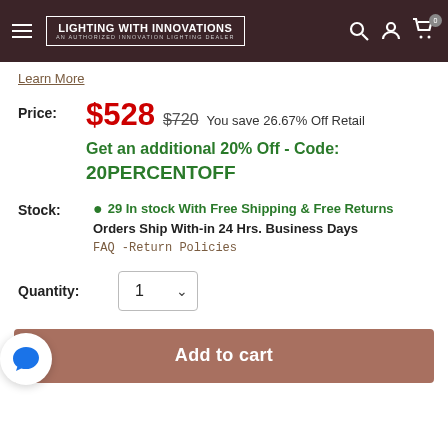LIGHTING WITH INNOVATIONS AN AUTHORIZED INNOVATION LIGHTING DEALER
Learn More
Price: $528  $720 You save 26.67% Off Retail
Get an additional 20% Off - Code:
20PERCENTOFF
Stock: 29 In stock With Free Shipping & Free Returns
Orders Ship With-in 24 Hrs. Business Days
FAQ -Return Policies
Quantity: 1
Add to cart